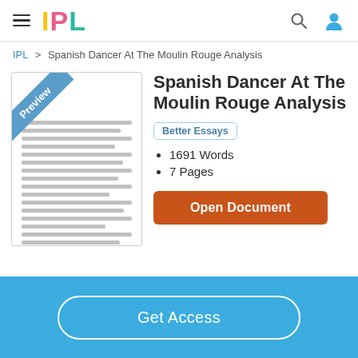IPL
IPL > Spanish Dancer At The Moulin Rouge Analysis
[Figure (illustration): Document preview thumbnail with a blue 'Preview' diagonal ribbon badge in the top-left corner, and gray horizontal lines simulating text content]
Spanish Dancer At The Moulin Rouge Analysis
Better Essays
1691 Words
7 Pages
Open Document
Get Access